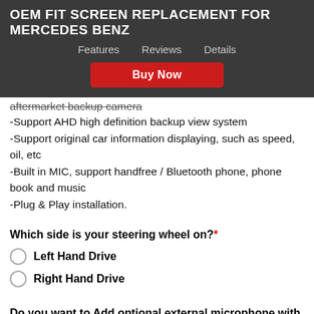OEM FIT SCREEN REPLACEMENT FOR MERCEDES BENZ
Features   Reviews   Details
aftermarket backup camera
-Support AHD high definition backup view system
-Support original car information displaying, such as speed, oil, etc
-Built in MIC, support handfree / Bluetooth phone, phone book and music
-Plug & Play installation.
Which side is your steering wheel on?*
Left Hand Drive
Right Hand Drive
Do you want to Add optional external microphone with the noise cancellation feature for better quality of